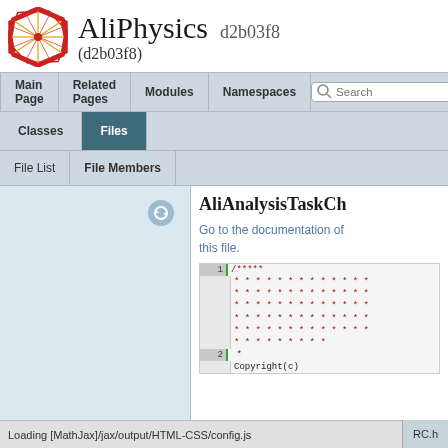AliPhysics d2b03f8 (d2b03f8)
AliAnalysisTaskCh
Go to the documentation of this file.
1 /****
***********
***********
***********
***********
***********
*********
2 *
Copyright(c)
Loading [MathJax]/jax/output/HTML-CSS/config.js    RC.h